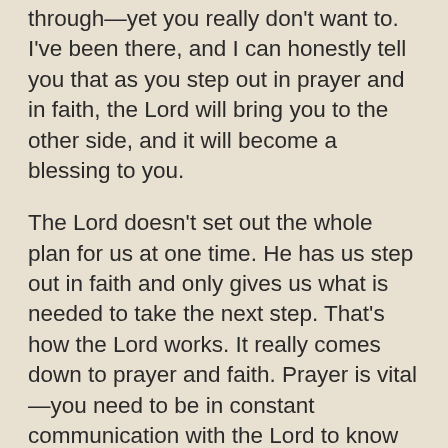through—yet you really don't want to. I've been there, and I can honestly tell you that as you step out in prayer and in faith, the Lord will bring you to the other side, and it will become a blessing to you.
The Lord doesn't set out the whole plan for us at one time. He has us step out in faith and only gives us what is needed to take the next step. That's how the Lord works. It really comes down to prayer and faith. Prayer is vital—you need to be in constant communication with the Lord to know where He is leading you and what He is saying to you! You need to be in His Word as well.
Finally you need to trust God. As much as we think we know what is best for our lives,